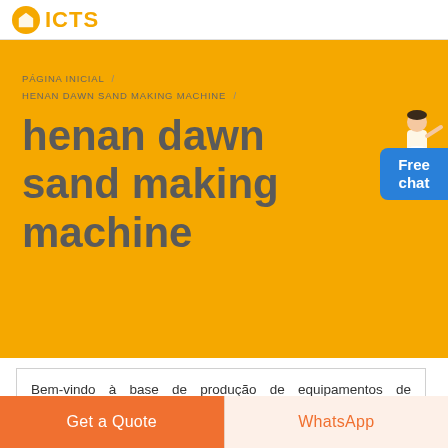ICTS (logo)
PÁGINA INICIAL / HENAN DAWN SAND MAKING MACHINE /
henan dawn sand making machine
[Figure (illustration): Customer support representative figure pointing, with Free chat button in blue]
Bem-vindo à base de produção de equipamentos de mineração. Nós produzimos principalmente equipamentos de britagem, moagem e mineração
Get a Quote   WhatsApp